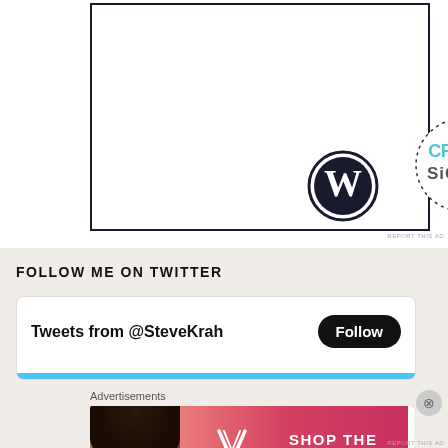[Figure (logo): WordPress logo (circular W) and Crowd Signal logo (dotted circle with CROWD SIGNAL text in teal) inside an advertisement box with dark border]
REPORT THIS AD
FOLLOW ME ON TWITTER
[Figure (screenshot): Twitter widget showing 'Tweets from @SteveKrah' with a black Follow button and a teal progress bar at the bottom]
Advertisements
[Figure (photo): Victoria's Secret advertisement showing a woman's face, the VS logo, 'SHOP THE COLLECTION' text and a 'SHOP NOW' white button]
REPORT THIS AD